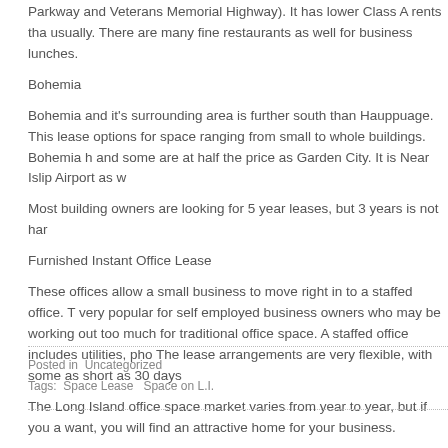Parkway and Veterans Memorial Highway). It has lower Class A rents than usually. There are many fine restaurants as well for business lunches.
Bohemia
Bohemia and it's surrounding area is further south than Hauppuage. This lease options for space ranging from small to whole buildings. Bohemia h and some are at half the price as Garden City. It is Near Islip Airport as w
Most building owners are looking for 5 year leases, but 3 years is not har
Furnished Instant Office Lease
These offices allow a small business to move right in to a staffed office. T very popular for self employed business owners who may be working out too much for traditional office space. A staffed office includes utilities, pho The lease arrangements are very flexible, with some as short as 30 days
The Long Island office space market varies from year to year, but if you a want, you will find an attractive home for your business.
Posted in Uncategorized Tags: Space Lease  Space on L.I.